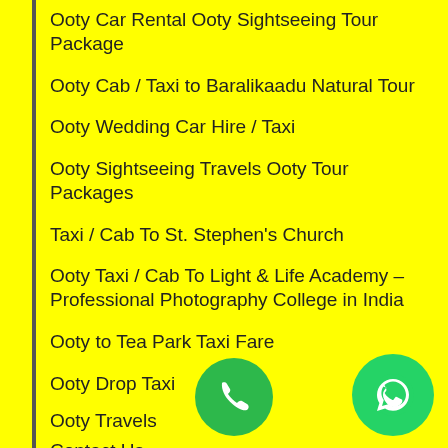Ooty Car Rental Ooty Sightseeing Tour Package
Ooty Cab / Taxi to Baralikaadu Natural Tour
Ooty Wedding Car Hire / Taxi
Ooty Sightseeing Travels Ooty Tour Packages
Taxi / Cab To St. Stephen's Church
Ooty Taxi / Cab To Light & Life Academy – Professional Photography College in India
Ooty to Tea Park Taxi Fare
Ooty Drop Taxi
Ooty Travels
Contact Us
[Figure (illustration): Green circular phone call button at bottom center]
[Figure (illustration): Green circular WhatsApp button at bottom right]